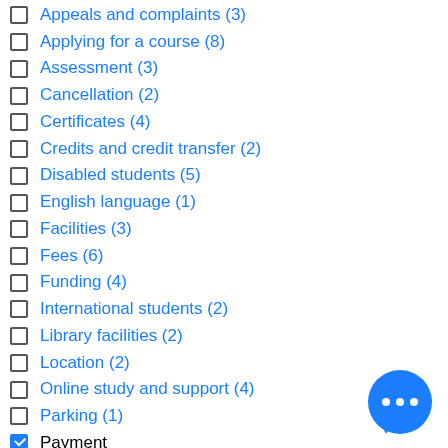Appeals and complaints (3)
Applying for a course (8)
Assessment (3)
Cancellation (2)
Certificates (4)
Credits and credit transfer (2)
Disabled students (5)
English language (1)
Facilities (3)
Fees (6)
Funding (4)
International students (2)
Library facilities (2)
Location (2)
Online study and support (4)
Parking (1)
Payment (checked)
Plagiarism (2)
Policies (21)
[Figure (illustration): Blue chat bubble icon with three dots, bottom-right corner]